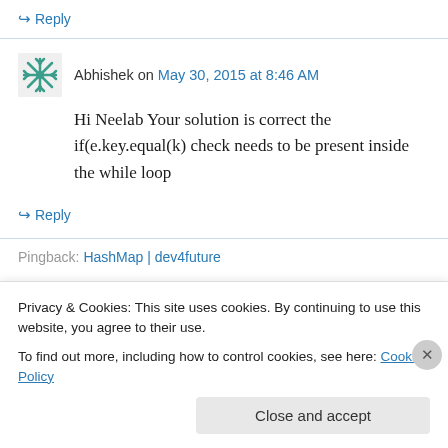↪ Reply
Abhishek on May 30, 2015 at 8:46 AM
Hi Neelab Your solution is correct the if(e.key.equal(k) check needs to be present inside the while loop
↪ Reply
Pingback: HashMap | dev4future
Privacy & Cookies: This site uses cookies. By continuing to use this website, you agree to their use.
To find out more, including how to control cookies, see here: Cookie Policy
Close and accept